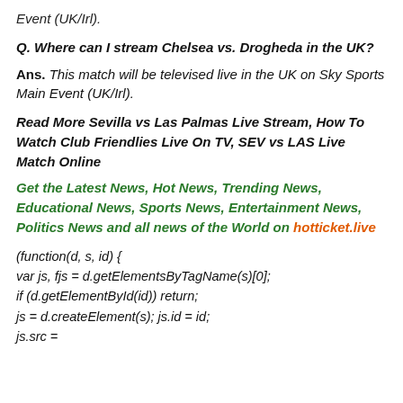Event (UK/Irl).
Q. Where can I stream Chelsea vs. Drogheda in the UK?
Ans. This match will be televised live in the UK on Sky Sports Main Event (UK/Irl).
Read More Sevilla vs Las Palmas Live Stream, How To Watch Club Friendlies Live On TV, SEV vs LAS Live Match Online
Get the Latest News, Hot News, Trending News, Educational News, Sports News, Entertainment News, Politics News and all news of the World on hotticket.live
(function(d, s, id) {
var js, fjs = d.getElementsByTagName(s)[0];
if (d.getElementById(id)) return;
js = d.createElement(s); js.id = id;
js.src =